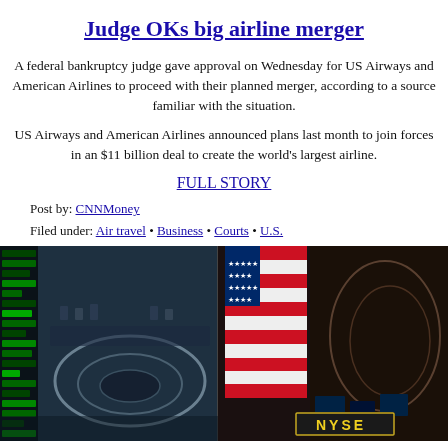Judge OKs big airline merger
A federal bankruptcy judge gave approval on Wednesday for US Airways and American Airlines to proceed with their planned merger, according to a source familiar with the situation.
US Airways and American Airlines announced plans last month to join forces in an $11 billion deal to create the world's largest airline.
FULL STORY
Post by: CNNMoney
Filed under: Air travel • Business • Courts • U.S.
[Figure (photo): Aerial view of the NYSE (New York Stock Exchange) trading floor showing the circular trading posts, an American flag displayed on a large screen, and the NYSE sign visible in the lower right corner.]